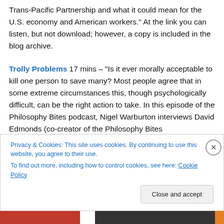Trans-Pacific Partnership and what it could mean for the U.S. economy and American workers.” At the link you can listen, but not download; however, a copy is included in the blog archive.
Trolly Problems 17 mins – “Is it ever morally acceptable to kill one person to save many? Most people agree that in some extreme circumstances this, though psychologically difficult, can be the right action to take. In this episode of the Philosophy Bites podcast, Nigel Warburton interviews David Edmonds (co-creator of the Philosophy Bites
Privacy & Cookies: This site uses cookies. By continuing to use this website, you agree to their use.
To find out more, including how to control cookies, see here: Cookie Policy
Close and accept